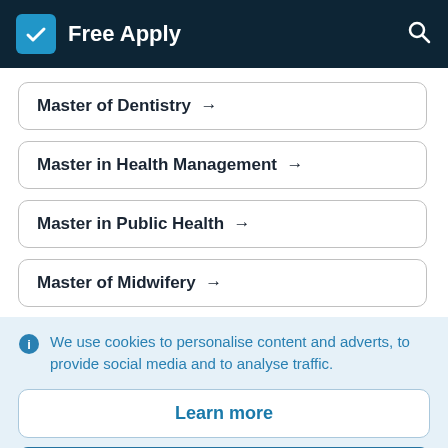Free Apply
Master of Dentistry →
Master in Health Management →
Master in Public Health →
Master of Midwifery →
We use cookies to personalise content and adverts, to provide social media and to analyse traffic.
Learn more
Accept